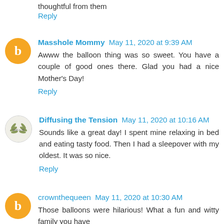thoughtful from them
Reply
Masshole Mommy May 11, 2020 at 9:39 AM
Awww the balloon thing was so sweet. You have a couple of good ones there. Glad you had a nice Mother's Day!
Reply
Diffusing the Tension May 11, 2020 at 10:16 AM
Sounds like a great day! I spent mine relaxing in bed and eating tasty food. Then I had a sleepover with my oldest. It was so nice.
Reply
crownthequeen May 11, 2020 at 10:30 AM
Those balloons were hilarious! What a fun and witty family you have